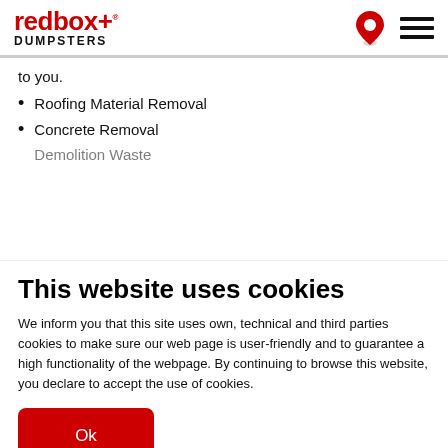redbox+ DUMPSTERS
to you.
Roofing Material Removal
Concrete Removal
Demolition Waste
This website uses cookies
We inform you that this site uses own, technical and third parties cookies to make sure our web page is user-friendly and to guarantee a high functionality of the webpage. By continuing to browse this website, you declare to accept the use of cookies.
Ok